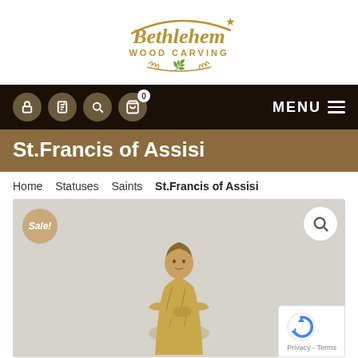[Figure (logo): Bethlehem Wood Carving logo — gold calligraphic text 'Bethlehem WOOD CARVING' with decorative arc and laurel wreath, on white background]
[Figure (screenshot): Dark navigation bar with four circular icon buttons (lock, list, search, cart with badge 0) on the left and MENU with hamburger icon on the right]
St.Francis of Assisi
Home   Statuses   Saints   St.Francis of Assisi
[Figure (photo): Wood carved statue of St. Francis of Assisi, gold/tan colored, standing figure in robes with hands clasped, on gray background. Sale! badge top-left, magnifying glass search button top-right, reCAPTCHA widget bottom-right.]